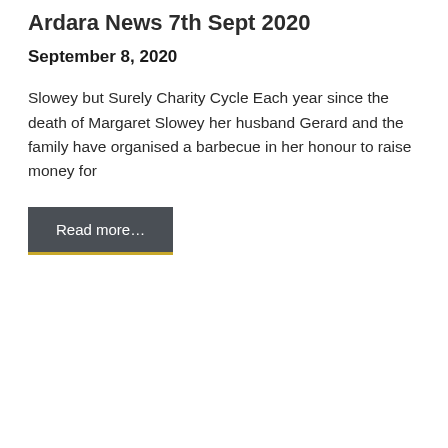Ardara News 7th Sept 2020
September 8, 2020
Slowey but Surely Charity Cycle Each year since the death of Margaret Slowey her husband Gerard and the family have organised a barbecue in her honour to raise money for
Read more…